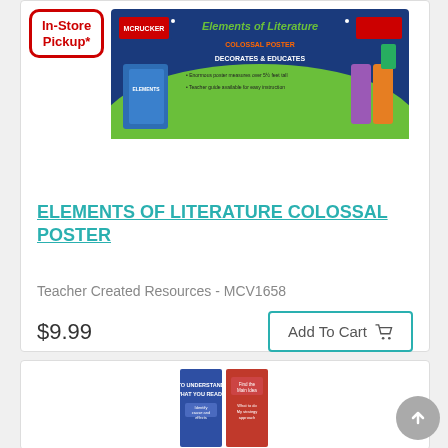[Figure (screenshot): In-Store Pickup badge with red border and red bold text]
[Figure (photo): Elements of Literature Colossal Poster product image - colorful banner with green and blue design]
ELEMENTS OF LITERATURE COLOSSAL POSTER
Teacher Created Resources - MCV1658
$9.99
Add To Cart
[Figure (photo): Second product image showing a book cover with text 'TO UNDERSTAND WHAT YOU READ...']